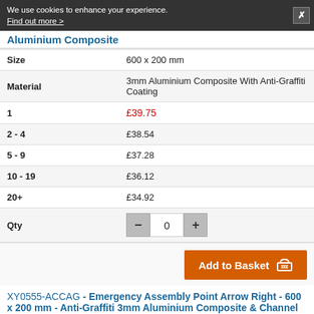We use cookies to enhance your experience. Find out more >
Aluminium Composite
|  |  |
| --- | --- |
| Size | 600 x 200 mm |
| Material | 3mm Aluminium Composite With Anti-Graffiti Coating |
| 1 | £39.75 |
| 2 - 4 | £38.54 |
| 5 - 9 | £37.28 |
| 10 - 19 | £36.12 |
| 20+ | £34.92 |
| Qty | — 0 + |
Add to Basket
XY0555-ACCAG - Emergency Assembly Point Arrow Right - 600 x 200 mm - Anti-Graffiti 3mm Aluminium Composite & Channel